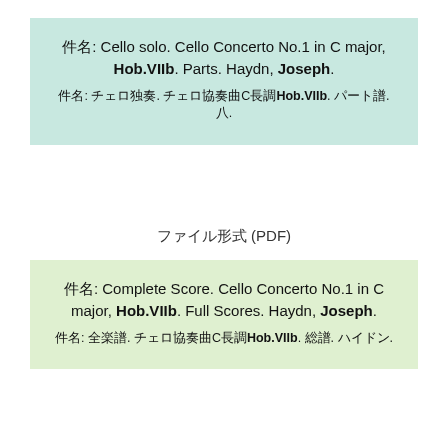件名: Cello solo. Cello Concerto No.1 in C major, Hob.VIIb. Parts. Haydn, Joseph.
件名: チェロ独奏. チェロ協奏曲C長調Hob.VIIb. パート譜. ハイドン.
ファイル形式 (PDF)
件名: Complete Score. Cello Concerto No.1 in C major, Hob.VIIb. Full Scores. Haydn, Joseph.
件名: 全楽譜. チェロ協奏曲C長調Hob.VIIb. 総譜. ハイドン.